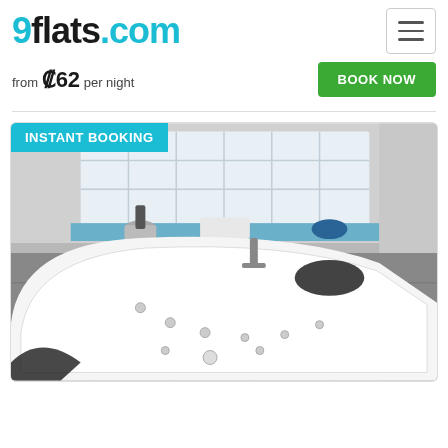9flats.com
from ₡62 per night
Book Now
[Figure (photo): Bathroom interior with a large white corner whirlpool/jacuzzi bathtub. Glass block window in the background with a champagne bucket, towels, and blue accessories on the ledge. Gray tile floor.]